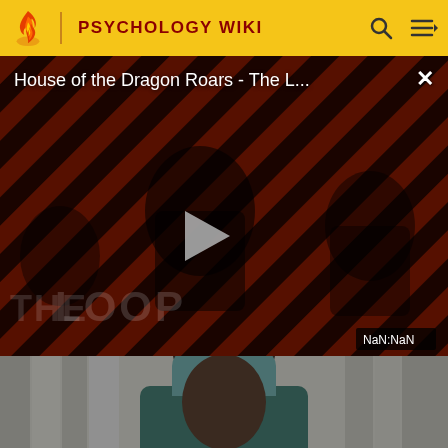PSYCHOLOGY WIKI
[Figure (screenshot): Video player overlay showing 'House of the Dragon Roars - The L...' title with diagonal red/black striped background, play button, THE LOOP watermark, and NaN:NaN duration display]
[Figure (photo): Photo of a man wearing a teal Philadelphia Eagles winter beanie hat and matching jacket, looking directly at camera against a light-colored background]